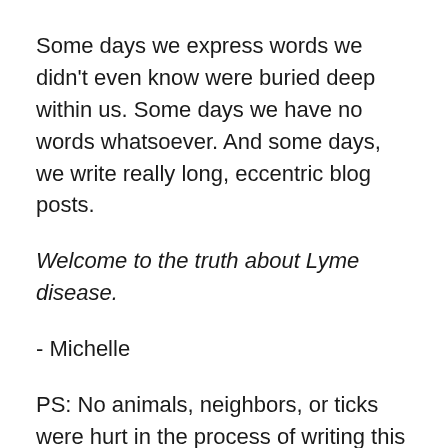Some days we express words we didn't even know were buried deep within us. Some days we have no words whatsoever. And some days, we write really long, eccentric blog posts.
Welcome to the truth about Lyme disease.
- Michelle
PS: No animals, neighbors, or ticks were hurt in the process of writing this truthful